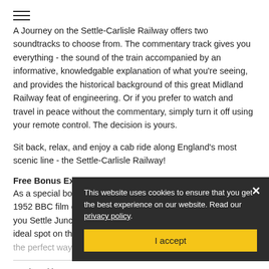A Journey on the Settle-Carlisle Railway offers two soundtracks to choose from. The commentary track gives you everything - the sound of the train accompanied by an informative, knowledgable explanation of what you're seeing, and provides the historical background of this great Midland Railway feat of engineering. Or if you prefer to watch and travel in peace without the commentary, simply turn it off using your remote control. The decision is yours.
Sit back, relax, and enjoy a cab ride along England's most scenic line - the Settle-Carlisle Railway!
Free Bonus Extra
As a special bonus extra, we've re-interpreted the famous 1952 BBC film of London to Brighton in four minutes to bring you Settle Junction to Carlisle in four minutes, viewed from the ideal spot on the front of the train. It gives a perfect way to learn the route and.
Produced by - Cre...
Running time - 102...
Format - 16:9 widescreen
Blu-ray or DVD